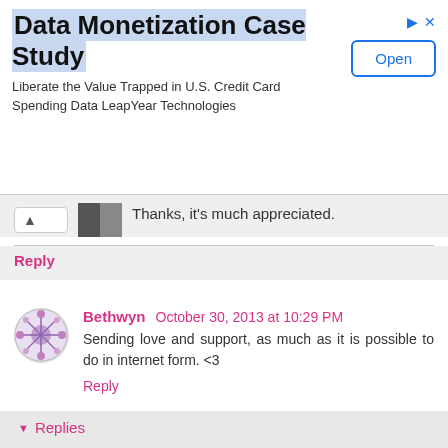[Figure (screenshot): Advertisement banner for Data Monetization Case Study by LeapYear Technologies with an Open button]
Thanks, it's much appreciated.
Reply
Bethwyn  October 30, 2013 at 10:29 PM
Sending love and support, as much as it is possible to do in internet form. <3
Reply
▼ Replies
Misty  October 31, 2013 at 7:38 PM
Thanks <3
Reply